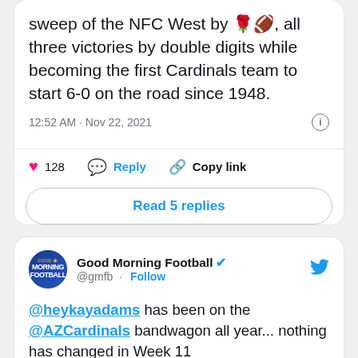sweep of the NFC West by 🌹🏈, all three victories by double digits while becoming the first Cardinals team to start 6-0 on the road since 1948.
12:52 AM · Nov 22, 2021
128  Reply  Copy link
Read 5 replies
Good Morning Football @gmfb · Follow
@heykayadams has been on the @AZCardinals bandwagon all year... nothing has changed in Week 11
"Talk about adversity and excuses.. this is the best team in the NFL" - @heykayadams